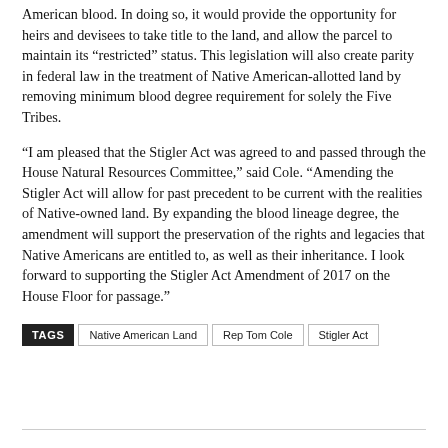American blood. In doing so, it would provide the opportunity for heirs and devisees to take title to the land, and allow the parcel to maintain its “restricted” status. This legislation will also create parity in federal law in the treatment of Native American-allotted land by removing minimum blood degree requirement for solely the Five Tribes.
“I am pleased that the Stigler Act was agreed to and passed through the House Natural Resources Committee,” said Cole. “Amending the Stigler Act will allow for past precedent to be current with the realities of Native-owned land. By expanding the blood lineage degree, the amendment will support the preservation of the rights and legacies that Native Americans are entitled to, as well as their inheritance. I look forward to supporting the Stigler Act Amendment of 2017 on the House Floor for passage.”
TAGS: Native American Land | Rep Tom Cole | Stigler Act